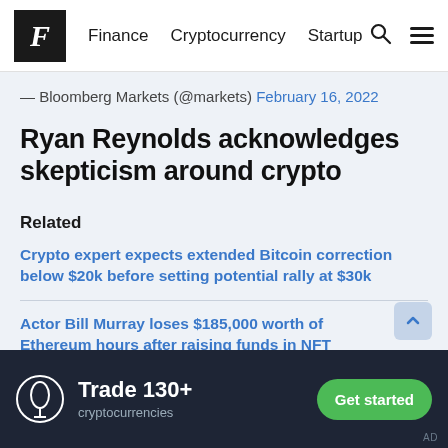F Finance Cryptocurrency Startup
— Bloomberg Markets (@markets) February 16, 2022
Ryan Reynolds acknowledges skepticism around crypto
Related
Crypto expert expects extended Bitcoin correction below $20k before setting potential rally at $30k
Actor Bill Murray loses $185,000 worth of Ethereum hours after raising funds in NFT auction
[Figure (other): Ad banner: OKX logo icon, Trade 130+ cryptocurrencies, Get started button]